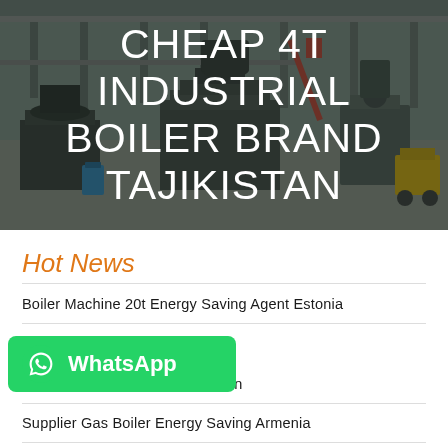[Figure (photo): Industrial factory/boiler manufacturing facility interior with large industrial equipment, overhead structures, and machinery on the floor. Dark overlay applied. Title text overlaid on image.]
CHEAP 4T INDUSTRIAL BOILER BRAND TAJIKISTAN
Hot News
Boiler Machine 20t Energy Saving Agent Estonia
ler Commercial Price Kazakhstan
Supplier Gas Boiler Energy Saving Armenia
[Figure (other): WhatsApp button overlay with green background, WhatsApp phone icon, and 'WhatsApp' text in white bold font]